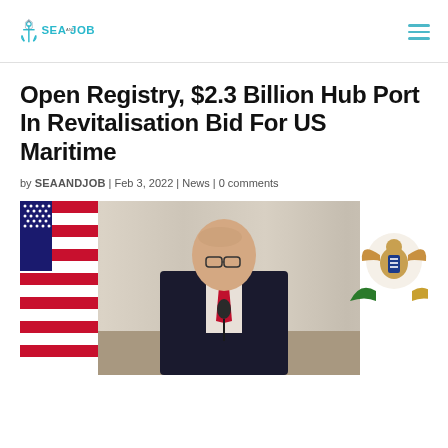SEAANDJOB
Open Registry, $2.3 Billion Hub Port In Revitalisation Bid For US Maritime
by SEAANDJOB | Feb 3, 2022 | News | 0 comments
[Figure (photo): A man in a dark suit with a red tie speaking at a podium or press conference, with an American flag on the left and a US Virgin Islands flag on the right, in front of a curtain backdrop.]